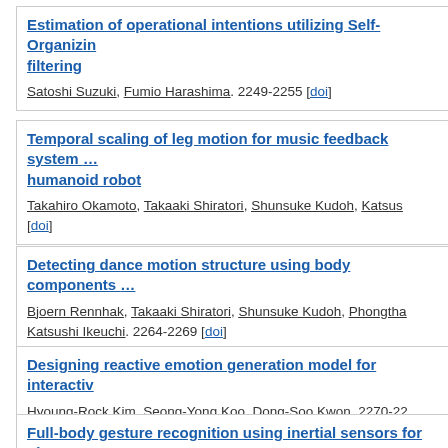Estimation of operational intentions utilizing Self-Organizing filtering
Satoshi Suzuki, Fumio Harashima. 2249-2255 [doi]
Temporal scaling of leg motion for music feedback system humanoid robot
Takahiro Okamoto, Takaaki Shiratori, Shunsuke Kudoh, Katsushi ... [doi]
Detecting dance motion structure using body components
Bjoern Rennhak, Takaaki Shiratori, Shunsuke Kudoh, Phongtha... Katsushi Ikeuchi. 2264-2269 [doi]
Designing reactive emotion generation model for interactive...
Hyoung-Rock Kim, Seong-Yong Koo, Dong-Soo Kwon. 2270-22...
Full-body gesture recognition using inertial sensors for play... small humanoid robot